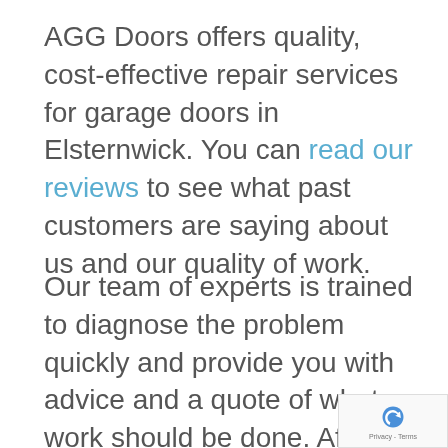AGG Doors offers quality, cost-effective repair services for garage doors in Elsternwick. You can read our reviews to see what past customers are saying about us and our quality of work.
Our team of experts is trained to diagnose the problem quickly and provide you with advice and a quote of what work should be done. After being in business for over 20 years, we're highly skilled and qualified to...